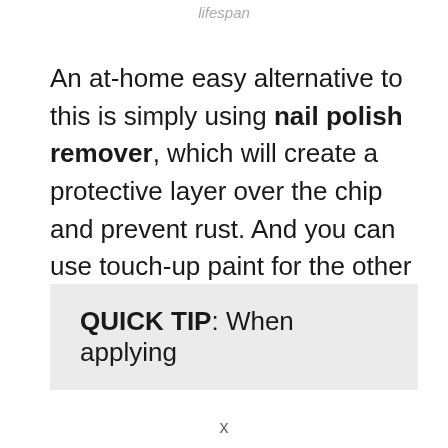lifespan
An at-home easy alternative to this is simply using nail polish remover, which will create a protective layer over the chip and prevent rust. And you can use touch-up paint for the other parts of the bike to keep the surface looking pristine.
QUICK TIP: When applying
x